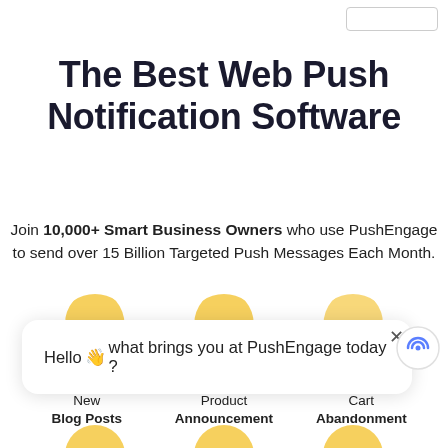The Best Web Push Notification Software
Join 10,000+ Smart Business Owners who use PushEngage to send over 15 Billion Targeted Push Messages Each Month.
[Figure (screenshot): Chat popup bubble with text: Hello 👋 what brings you at PushEngage today? with a close (×) button and a radio/broadcast icon on the right.]
New Blog Posts
Product Announcement
Cart Abandonment